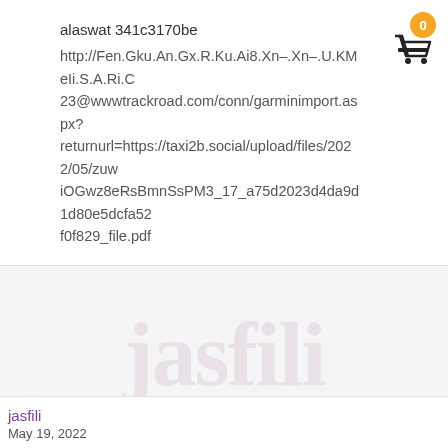alaswat 341c3170be http://Fen.Gku.An.Gx.R.Ku.Ai8.Xn–.Xn–.U.KMeIi.S.A.Ri.C23@wwwtrackroad.com/conn/garminimport.aspx?returnurl=https://taxi2b.social/upload/files/2022/05/zuw iOGwz8eRsBmnSsPM3_17_a75d2023d4da9d1d80e5dcfa52f0f829_file.pdf
[Figure (illustration): Shopping cart icon with orange badge showing 0]
[Figure (illustration): Faded watermark background text]
jasfili
May 19, 2022
jasfili 341c3170be http://toolbarqueries.google.bg/url?q=https://beta.pinoysg.net/upload/files/2022/05/QNWGh